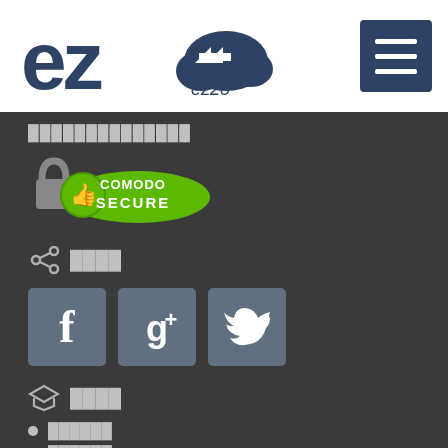[Figure (logo): ez2o cloud logo with text 'ez2o']
[Figure (other): Hamburger menu icon button (dark blue square with three white lines)]
██████████████
[Figure (other): Comodo Secure badge with green thumbs up and padlock]
████
[Figure (other): Social media buttons: Facebook, Google+, Twitter]
████
██████
██████
██APP██
██████
██████